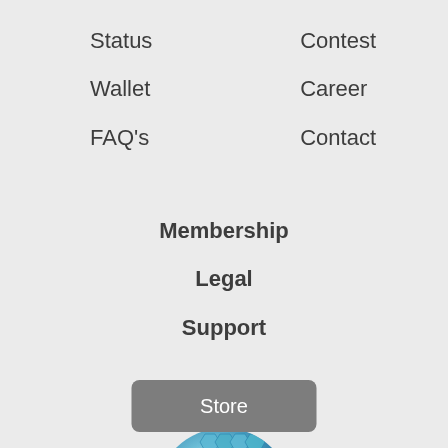Status
Wallet
FAQ's
Contest
Career
Contact
Membership
Legal
Support
Store
[Figure (logo): DigitalWorld logo with a blue honeycomb-textured globe and the text 'DigitalWorld' below it in blue]